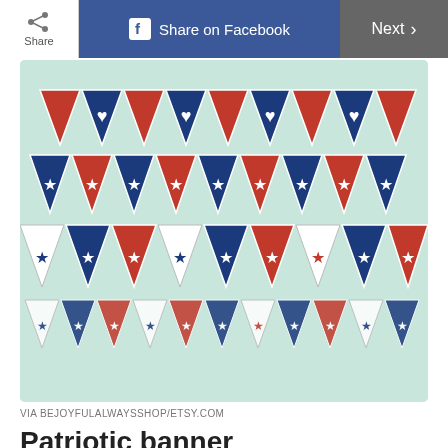Share | Share on Facebook | Next
[Figure (photo): Patriotic red, white and blue bunting/banner with stars and hearts on a light teal background, shown in multiple strands]
VIA BEJOYFULALWAYSSHOP/ETSY.COM
Patriotic banner
If you're not so crafty yourself, check out this fun